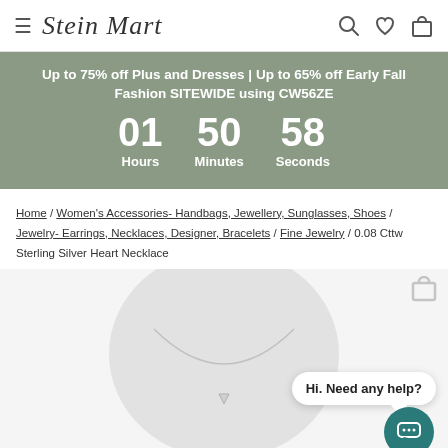Stein Mart
Up to 75% off Plus and Dresses | Up to 65% off Early Fall Fashion SITEWIDE using CW56ZE
01 Hours 50 Minutes 58 Seconds
Home / Women's Accessories- Handbags, Jewellery, Sunglasses, Shoes / Jewelry- Earrings, Necklaces, Designer, Bracelets / Fine Jewelry / 0.08 Cttw Sterling Silver Heart Necklace
[Figure (photo): Product display showing a sterling silver heart necklace on a white jewelry bust/neckform, with a chat widget overlay in the bottom right corner saying 'Hi. Need any help?']